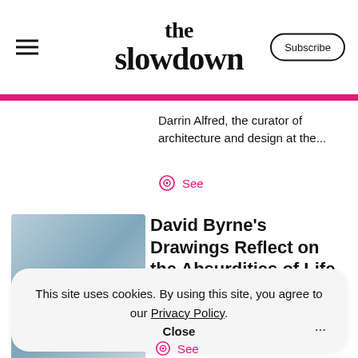the slowdown
Darrin Alfred, the curator of architecture and design at the...
See
David Byrne's Drawings Reflect on the Absurdities of Life That Connect Us All
[Figure (photo): Thumbnail image placeholder with blue-grey gradient]
This site uses cookies. By using this site, you agree to our Privacy Policy. Close
See